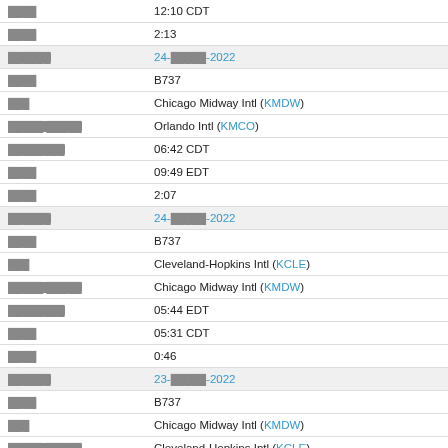| ████ | 12:10 CDT |
| ████ | 2:13 |
| ██████ | 24-█████-2022 |
| ████ | B737 |
| ███ | Chicago Midway Intl (KMDW) |
| █████ █████ | Orlando Intl (KMCO) |
| ████████ | 06:42 CDT |
| ████ | 09:49 EDT |
| ████ | 2:07 |
| ██████ | 24-█████-2022 |
| ████ | B737 |
| ███ | Cleveland-Hopkins Intl (KCLE) |
| █████ █████ | Chicago Midway Intl (KMDW) |
| ████████ | 05:44 EDT |
| ████ | 05:31 CDT |
| ████ | 0:46 |
| ██████ | 23-█████-2022 |
| ████ | B737 |
| ███ | Chicago Midway Intl (KMDW) |
| █████ █████ | Cleveland-Hopkins Intl (KCLE) |
| ████████ | 23:36 CDT |